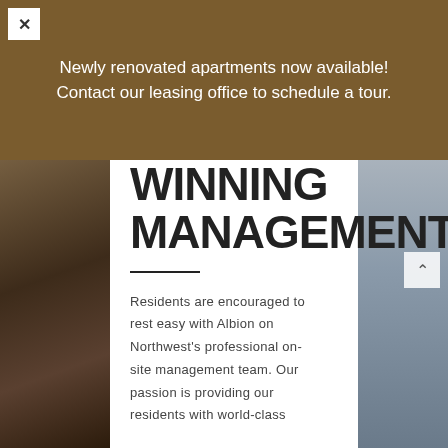×
Newly renovated apartments now available! Contact our leasing office to schedule a tour.
WINNING MANAGEMENT
Residents are encouraged to rest easy with Albion on Northwest's professional on-site management team. Our passion is providing our residents with world-class